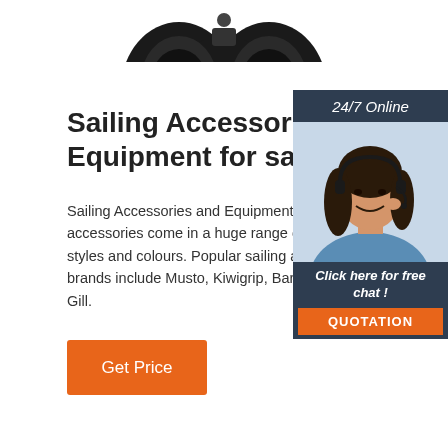[Figure (photo): Partial top view of binoculars product image, cropped at top of page]
Sailing Accessories & Equipment for sale
Sailing Accessories and Equipment. Sailing accessories come in a huge range of different styles and colours. Popular sailing accessories brands include Musto, Kiwigrip, Barton and Gill.
[Figure (photo): Customer service representative woman wearing headset, smiling, with '24/7 Online' header and 'Click here for free chat!' and 'QUOTATION' button in dark blue sidebar]
Get Price